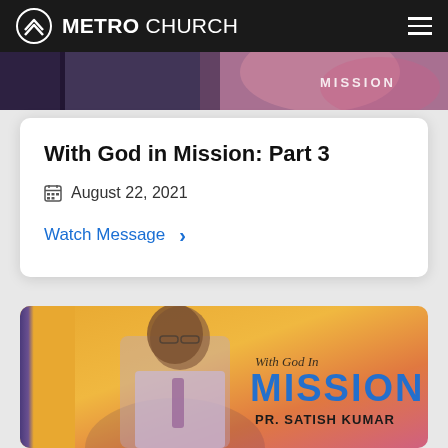METRO CHURCH
[Figure (photo): Top cropped photo of a person on stage with colorful background and MISSION text overlay]
With God in Mission: Part 3
August 22, 2021
Watch Message >
[Figure (photo): Promotional image of Pr. Satish Kumar speaking on stage with orange gradient background and 'With God In MISSION' text and 'PR. SATISH KUMAR' subtitle]